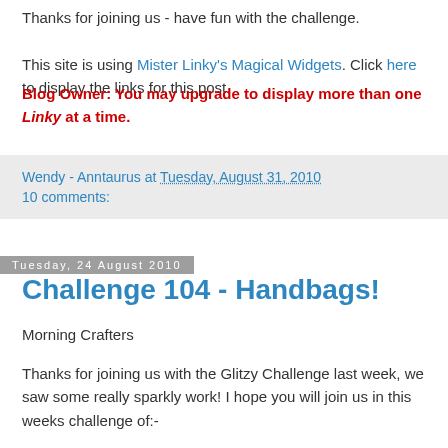Thanks for joining us - have fun with the challenge.
This site is using Mister Linky's Magical Widgets. Click here to display the links for this post.
Blog Owner: You may upgrade to display more than one Linky at a time.
Wendy - Anntaurus at Tuesday, August 31, 2010
10 comments:
Tuesday, 24 August 2010
Challenge 104 - Handbags!
Morning Crafters
Thanks for joining us with the Glitzy Challenge last week, we saw some really sparkly work! I hope you will join us in this weeks challenge of:-